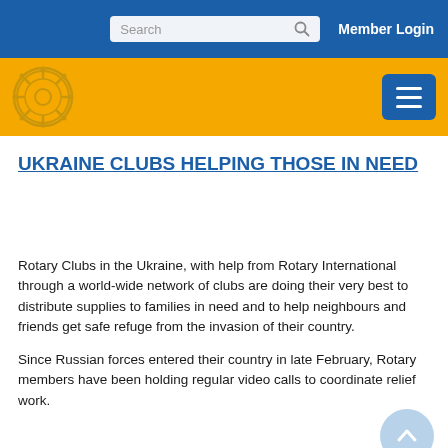[Figure (screenshot): Blue navigation bar with search box and Member Login text]
[Figure (logo): Rotary International logo on gold/yellow header bar with blue hamburger menu button]
UKRAINE CLUBS HELPING THOSE IN NEED
Rotary Clubs in the Ukraine, with help from Rotary International through a world-wide network of clubs are doing their very best to distribute supplies to families in need and to help neighbours and friends get safe refuge from the invasion of their country.
Since Russian forces entered their country in late February, Rotary members have been holding regular video calls to coordinate relief work.